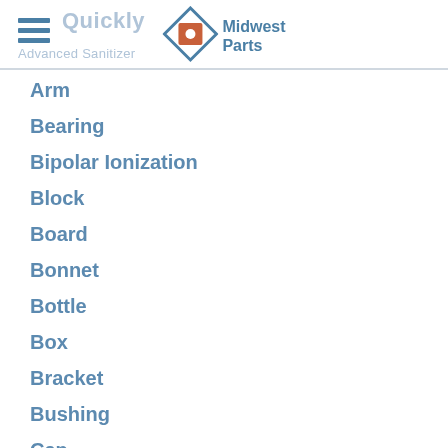Midwest Parts
Arm
Bearing
Bipolar Ionization
Block
Board
Bonnet
Bottle
Box
Bracket
Bushing
Cap
Capacitor